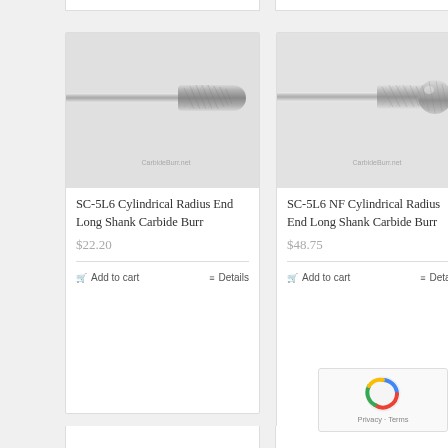[Figure (photo): Photo of SC-5L6 Cylindrical Radius End Long Shank Carbide Burr with watermark CarbideBurr.net]
SC-5L6 Cylindrical Radius End Long Shank Carbide Burr
$22.20
Add to cart
Details
[Figure (photo): Photo of SC-5L6 NF Cylindrical Radius End Long Shank Carbide Burr with watermark CarbideBurr.net]
SC-5L6 NF Cylindrical Radius End Long Shank Carbide Burr
$48.75
Add to cart
Details